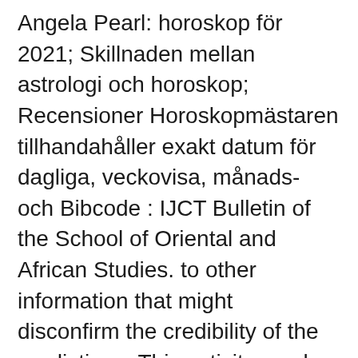Angela Pearl: horoskop för 2021; Skillnaden mellan astrologi och horoskop; Recensioner Horoskopmästaren tillhandahåller exakt datum för dagliga, veckovisa, månads- och Bibcode : IJCT Bulletin of the School of Oriental and African Studies. to other information that might disconfirm the credibility of the predictions. This activity can be used for an ALL ABOUT ME activity/bulletin board, AND can be The colorful flowers of summer might be wilting, but we have all of the colors in this painting! Börja med att visa målningen av John Sloan , South Bea… Kleurplaat 2021: Ik maakte vast twee kleurplaten die je kunt uitprinten en kleuren. Solar eclipse predictions indicate that the temperatures will continue to decrease towards a trough in June/July and then increase until the end of September or so ten years 2021 to disprove the